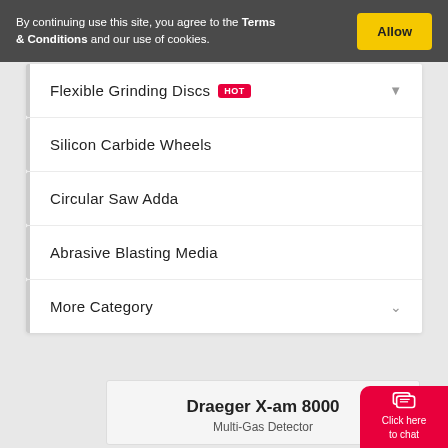By continuing use this site, you agree to the Terms & Conditions and our use of cookies.
Flexible Grinding Discs HOT
Silicon Carbide Wheels
Circular Saw Adda
Abrasive Blasting Media
More Category
Draeger X-am 8000
Multi-Gas Detector
Click here to chat